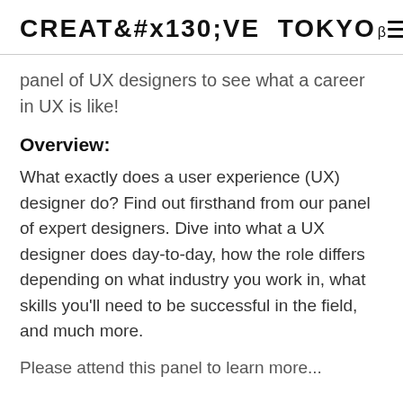CREATIVE TOKYO β
panel of UX designers to see what a career in UX is like!
Overview:
What exactly does a user experience (UX) designer do? Find out firsthand from our panel of expert designers. Dive into what a UX designer does day-to-day, how the role differs depending on what industry you work in, what skills you'll need to be successful in the field, and much more.
Please attend this panel to learn more...